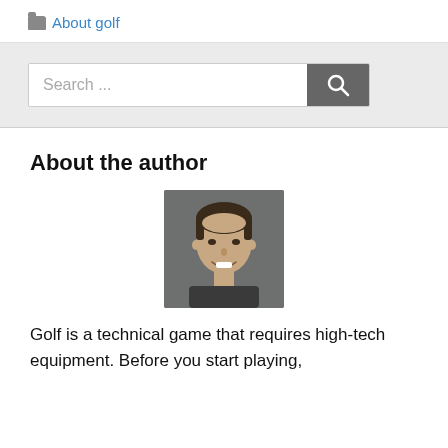About golf
Search ...
About the author
[Figure (photo): Headshot photo of a young man with dark hair, smiling, against a grey background]
Golf is a technical game that requires high-tech equipment. Before you start playing,